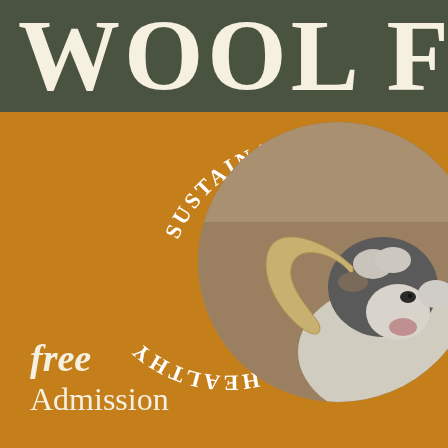WOOL FE...
[Figure (illustration): Circular photo of a horned ram/sheep with large curved horns, dark face and white wool, set against a background of dry grass. The circular image is surrounded by curved text reading 'HEALTHY' and 'SUSTAINABLE' in white letters on an orange/amber background.]
FREE Admission